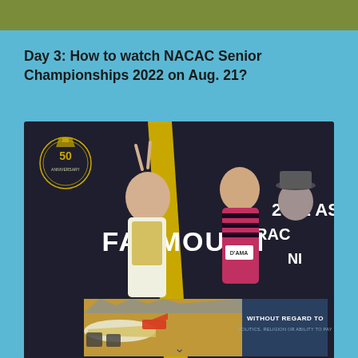[Figure (other): Olive/dark green decorative header bar]
Day 3: How to watch NACAC Senior Championships 2022 on Aug. 21?
[Figure (photo): Two runners posing at the Falmouth Road Race event with a dark banner reading FALMOUTH and 2022 ASIC in the background; a yellow diagonal stripe is visible; a 50th anniversary logo appears on the left; text D'AMA and ORGANIZING visible; an advertisement overlay at the bottom shows an airplane photo with text WITHOUT REGARD TO]
WITHOUT REGARD TO